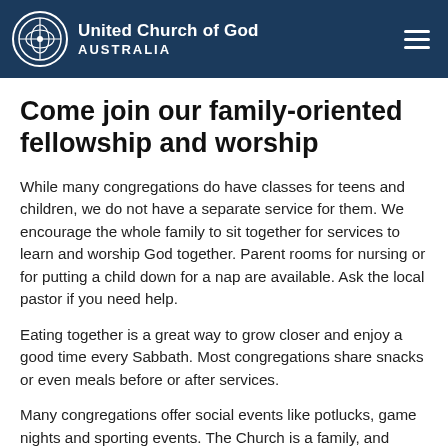United Church of God AUSTRALIA
Come join our family-oriented fellowship and worship
While many congregations do have classes for teens and children, we do not have a separate service for them. We encourage the whole family to sit together for services to learn and worship God together. Parent rooms for nursing or for putting a child down for a nap are available. Ask the local pastor if you need help.
Eating together is a great way to grow closer and enjoy a good time every Sabbath. Most congregations share snacks or even meals before or after services.
Many congregations offer social events like potlucks, game nights and sporting events. The Church is a family, and families grow when they spend time together.